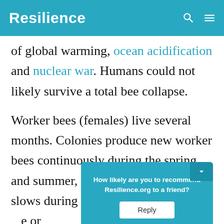Resilience
of global warming, ocean acidification and nuclear war. Humans could not likely survive a total bee collapse.
Worker bees (females) live several months. Colonies produce new worker bees continuously during the spring and summer, and then reproduction slows during the winter. Typically one hive or colony ... over the ... bees
[Figure (screenshot): A teal popup dialog asking 'How likely are you to recommend Resilience.org to a friend?' with a Reply button and a collapse arrow icon in the top-right corner.]